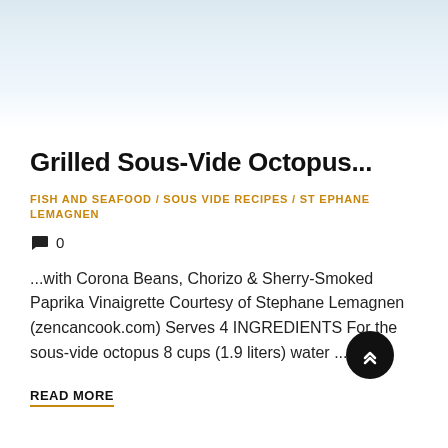[Figure (photo): Light blue/white background image of octopus dish, faded at bottom]
Grilled Sous-Vide Octopus...
FISH AND SEAFOOD / SOUS VIDE RECIPES / STEPHANE LEMAGNEN
0
...with Corona Beans, Chorizo & Sherry-Smoked Paprika Vinaigrette Courtesy of Stephane Lemagnen (zencancook.com) Serves 4 INGREDIENTS For the sous-vide octopus 8 cups (1.9 liters) water ...
READ MORE